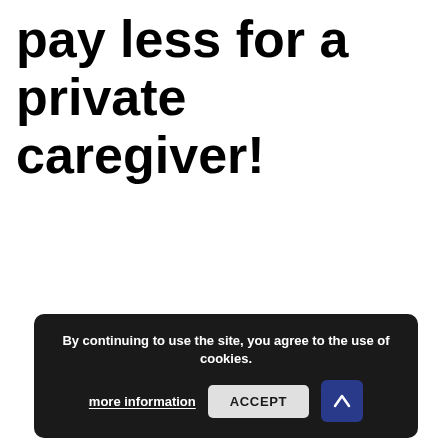pay less for a private caregiver!
By continuing to use the site, you agree to the use of cookies.
more information
ACCEPT